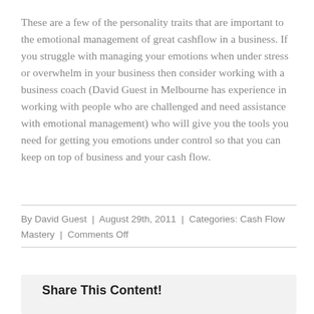These are a few of the personality traits that are important to the emotional management of great cashflow in a business. If you struggle with managing your emotions when under stress or overwhelm in your business then consider working with a business coach (David Guest in Melbourne has experience in working with people who are challenged and need assistance with emotional management) who will give you the tools you need for getting you emotions under control so that you can keep on top of business and your cash flow.
By David Guest | August 29th, 2011 | Categories: Cash Flow Mastery | Comments Off
Share This Content!